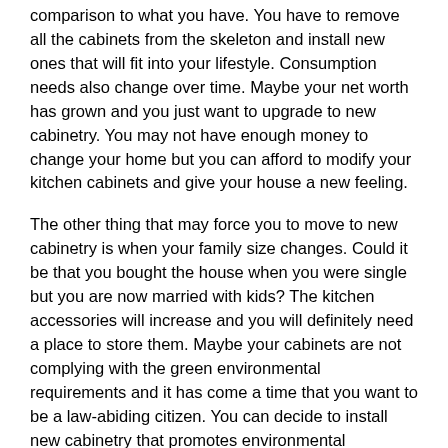comparison to what you have. You have to remove all the cabinets from the skeleton and install new ones that will fit into your lifestyle. Consumption needs also change over time. Maybe your net worth has grown and you just want to upgrade to new cabinetry. You may not have enough money to change your home but you can afford to modify your kitchen cabinets and give your house a new feeling.
The other thing that may force you to move to new cabinetry is when your family size changes. Could it be that you bought the house when you were single but you are now married with kids? The kitchen accessories will increase and you will definitely need a place to store them. Maybe your cabinets are not complying with the green environmental requirements and it has come a time that you want to be a law-abiding citizen. You can decide to install new cabinetry that promotes environmental conservation.